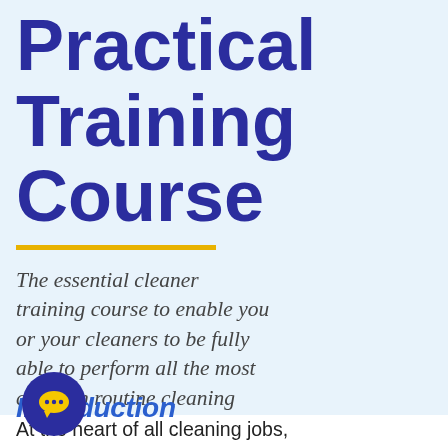Practical Training Course
The essential cleaner training course to enable you or your cleaners to be fully able to perform all the most common routine cleaning jobs, in any industry, at any time.
Introduction
At the heart of all cleaning jobs, regardless of the working environment and industry, are the essential cleaning principles and